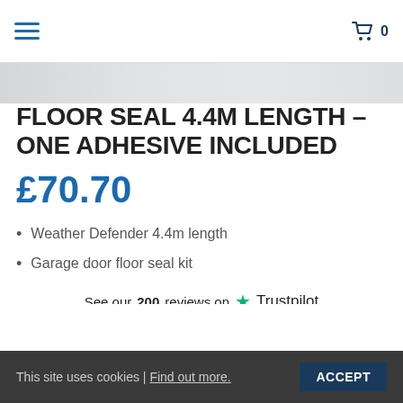Navigation menu | Cart 0
FLOOR SEAL 4.4M LENGTH – ONE ADHESIVE INCLUDED
£70.70
Weather Defender 4.4m length
Garage door floor seal kit
See our 200 reviews on Trustpilot
Available
ADD TO BASKET
This site uses cookies | Find out more. ACCEPT